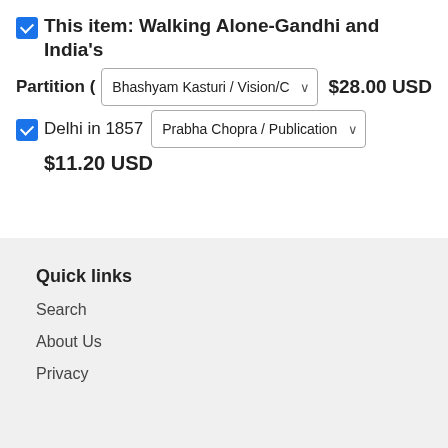This item: Walking Alone-Gandhi and India's Partition ( Bhashyam Kasturi / Vision/C [dropdown] $28.00 USD
Delhi in 1857 Prabha Chopra / Publication [dropdown]
$11.20 USD
Quick links
Search
About Us
Privacy